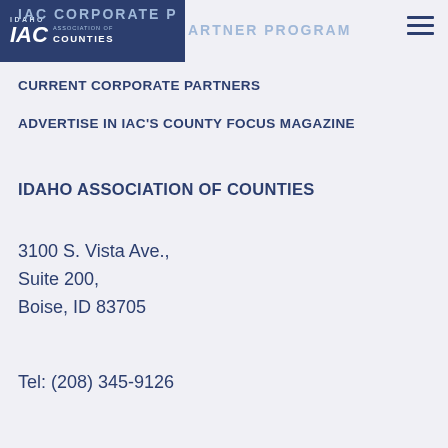IAC CORPORATE PARTNER PROGRAM
[Figure (logo): Idaho Association of Counties logo — dark blue rectangle with IAC initials and text IDAHO ASSOCIATION OF COUNTIES]
CURRENT CORPORATE PARTNERS
ADVERTISE IN IAC'S COUNTY FOCUS MAGAZINE
IDAHO ASSOCIATION OF COUNTIES
3100 S. Vista Ave.,
Suite 200,
Boise, ID 83705
Tel: (208) 345-9126